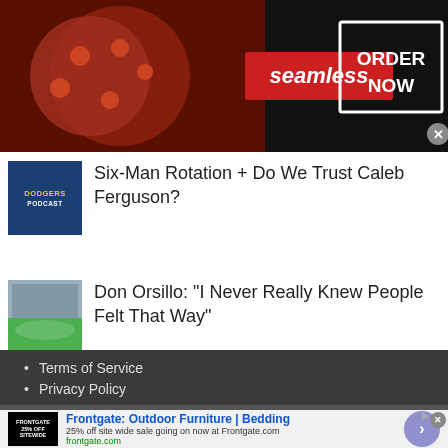[Figure (screenshot): Seamless food delivery advertisement banner with pizza image, red Seamless logo, and ORDER NOW button on dark background]
Six-Man Rotation + Do We Trust Caleb Ferguson?
Don Orsillo: "I Never Really Knew People Felt That Way"
Terms of Service
Privacy Policy
Contact Us
About Us
[Figure (screenshot): Frontgate: Outdoor Furniture | Bedding advertisement. 25% off site wide sale going on now at Frontgate.com. frontgate.com]